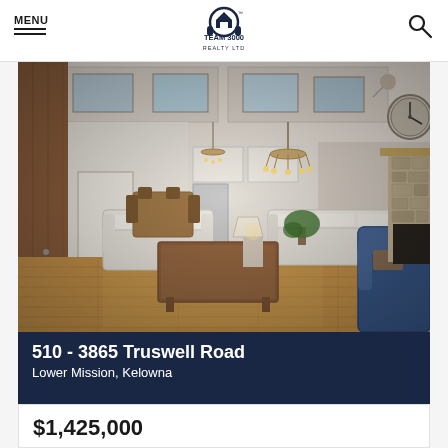MENU | TEAM 3000 REALTY LTD
[Figure (photo): Interior living room photo of a luxury condo with high ceilings, hardwood floors, white sofas, a fireplace with stone surround, chandelier, and open plan kitchen visible in background]
510 - 3865 Truswell Road
Lower Mission, Kelowna
$1,425,000